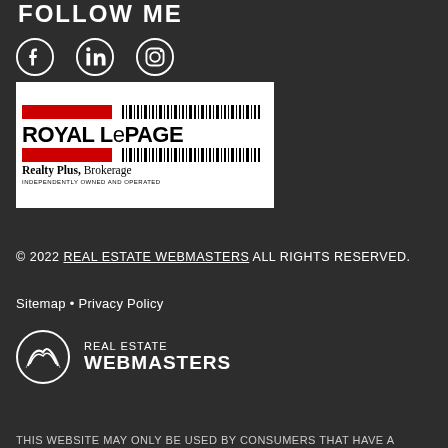FOLLOW ME
[Figure (logo): Social media icons: Facebook, LinkedIn, Instagram]
[Figure (logo): Royal LePage Realty Plus, Brokerage — Independently Owned and Operated logo]
© 2022 REAL ESTATE WEBMASTERS ALL RIGHTS RESERVED.
Sitemap • Privacy Policy
[Figure (logo): Real Estate Webmasters logo with mountain icon]
THIS WEBSITE MAY ONLY BE USED BY CONSUMERS THAT HAVE A